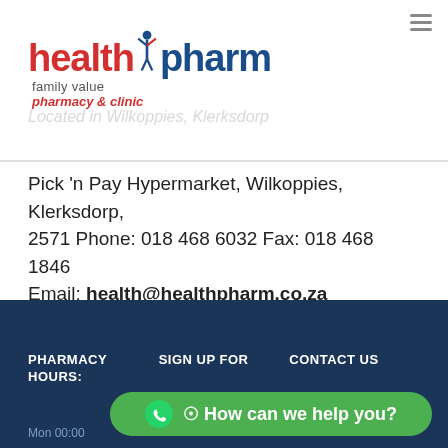[Figure (logo): Health Pharm pharmacy logo with red 'health', blue 'pharm', figure icon, and tagline 'family value pharmacy & clinic']
Located in Wilkoppies, Klerksdorp
Pick 'n Pay Hypermarket, Wilkoppies, Klerksdorp, 2571 Phone: 018 468 6032 Fax: 018 468 1846 Email: health@healthpharm.co.za
PHARMACY HOURS: | SIGN UP FOR NEWSLETTER | CONTACT US Pick 'n Pay
How can we help you?